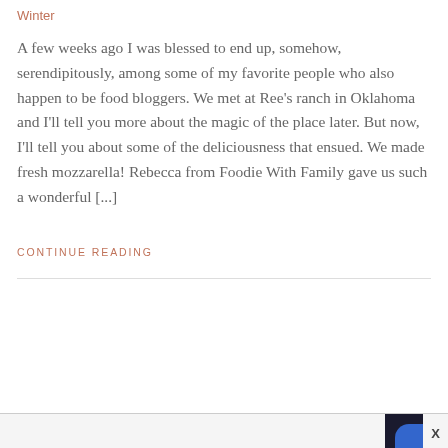Winter
A few weeks ago I was blessed to end up, somehow, serendipitously, among some of my favorite people who also happen to be food bloggers. We met at Ree’s ranch in Oklahoma and I’ll tell you more about the magic of the place later. But now, I’ll tell you about some of the deliciousness that ensued. We made fresh mozzarella! Rebecca from Foodie With Family gave us such a wonderful [...]
CONTINUE READING